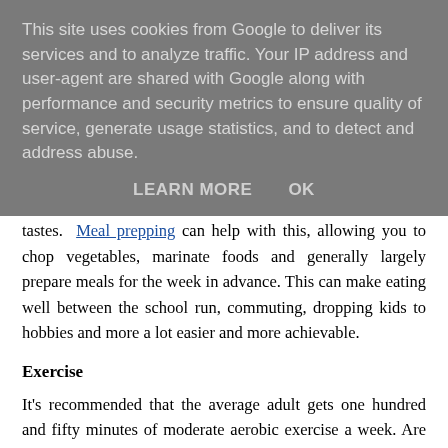This site uses cookies from Google to deliver its services and to analyze traffic. Your IP address and user-agent are shared with Google along with performance and security metrics to ensure quality of service, generate usage statistics, and to detect and address abuse.
LEARN MORE    OK
tastes. Meal prepping can help with this, allowing you to chop vegetables, marinate foods and generally largely prepare meals for the week in advance. This can make eating well between the school run, commuting, dropping kids to hobbies and more a lot easier and more achievable.
Exercise
It’s recommended that the average adult gets one hundred and fifty minutes of moderate aerobic exercise a week. Are you hitting this goal? If not, you need to incorporate some exercise into your routine. Try at-home workouts that you can engage with while your kids are home or that take less time to commute to.